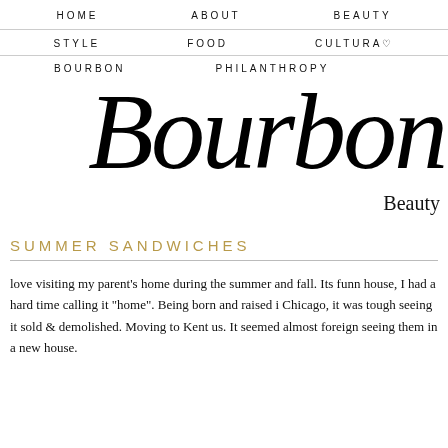HOME   ABOUT   BEAUTY
STYLE   FOOD   CULTURA♡
BOURBON   PHILANTHROPY
[Figure (logo): Cursive script logo reading 'Bourbon' in large italic font]
Beauty
SUMMER SANDWICHES
love visiting my parent's home during the summer and fall. Its funn house, I had a hard time calling it "home". Being born and raised i Chicago, it was tough seeing it sold & demolished. Moving to Kent us. It seemed almost foreign seeing them in a new house.